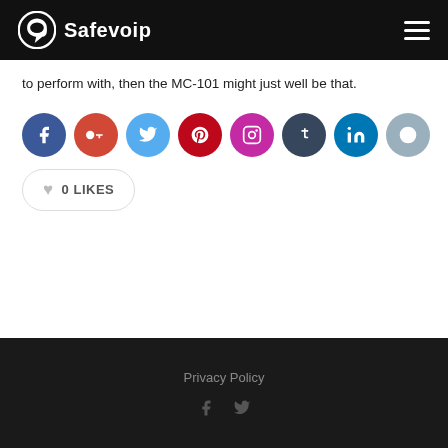Safevoip
to perform with, then the MC-101 might just well be that.
[Figure (other): Row of social media share buttons: Facebook, Google+, Twitter, Pinterest, Instagram, Tumblr, LinkedIn, Reddit]
0 LIKES
Privacy Policy